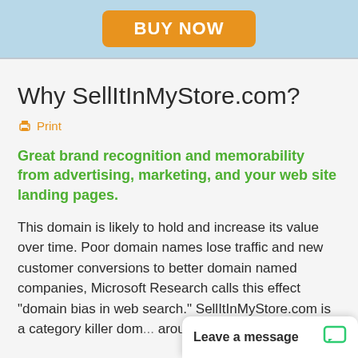[Figure (screenshot): BUY NOW orange button on light blue background banner]
Why SellItInMyStore.com?
Print
Great brand recognition and memorability from advertising, marketing, and your web site landing pages.
This domain is likely to hold and increase its value over time. Poor domain names lose traffic and new customer conversions to better domain named companies, Microsoft Research calls this effect "domain bias in web search." SellItInMyStore.com is a category killer dom... around the world. Su...
Leave a message